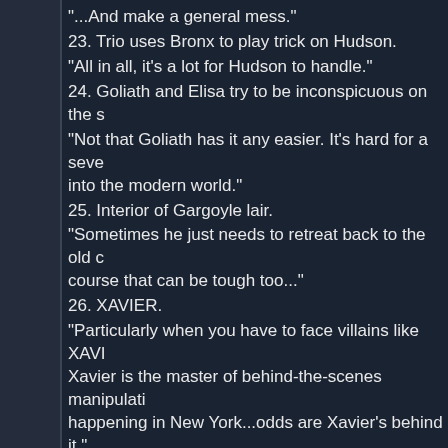"...And make a general mess."
23. Trio uses Bronx to play trick on Hudson.
"All in all, it's a lot for Hudson to handle."
24. Goliath and Elisa try to be inconspicuous on the s[treets]
"Not that Goliath has it any easier. It's hard for a seve[n-foot gargoyle to blend] into the modern world."
25. Interior of Gargoyle lair.
"Sometimes he just needs to retreat back to the old c[astle. Of] course that can be tough too..."
26. XAVIER.
"Particularly when you have to face villains like XAVI[ER...] Xavier is the master of behind-the-scenes manipulati[on. If something bad's] happening in New York...odds are Xavier's behind it."
27. WOLF and FOX.
28. JACKAL and HYENA.
29. DINGO and CY.O.T.I.